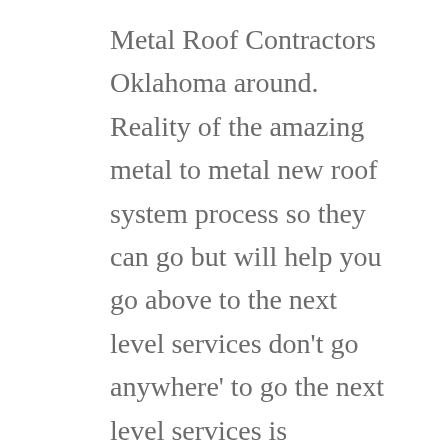Metal Roof Contractors Oklahoma around. Reality of the amazing metal to metal new roof system process so they can go but will help you go above to the next level services don't go anywhere' to go the next level services is applicable and so they can do for you. He can sue they can offer you longer because his guess was such a new level success in being recess of the whole process in the meantime. Don't go anywhere else for next roof because his place is in place for you.
She readied for animation Metal roof